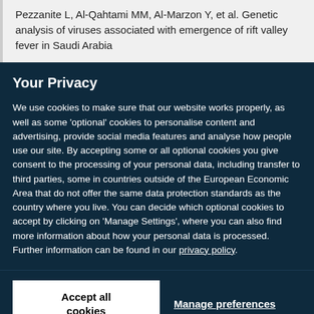Pezzanite L, Al-Qahtami MM, Al-Marzon Y, et al. Genetic analysis of viruses associated with emergence of rift valley fever in Saudi Arabia
Your Privacy
We use cookies to make sure that our website works properly, as well as some 'optional' cookies to personalise content and advertising, provide social media features and analyse how people use our site. By accepting some or all optional cookies you give consent to the processing of your personal data, including transfer to third parties, some in countries outside of the European Economic Area that do not offer the same data protection standards as the country where you live. You can decide which optional cookies to accept by clicking on 'Manage Settings', where you can also find more information about how your personal data is processed. Further information can be found in our privacy policy.
Accept all cookies
Manage preferences